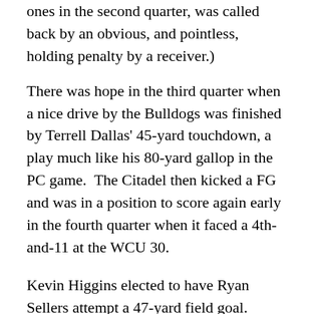ones in the second quarter, was called back by an obvious, and pointless, holding penalty by a receiver.)
There was hope in the third quarter when a nice drive by the Bulldogs was finished by Terrell Dallas' 45-yard touchdown, a play much like his 80-yard gallop in the PC game.  The Citadel then kicked a FG and was in a position to score again early in the fourth quarter when it faced a 4th-and-11 at the WCU 30.
Kevin Higgins elected to have Ryan Sellers attempt a 47-yard field goal.  Sellers had a good game on Saturday, stepping in for regular placekicker Sam Keeler (who was ill), but I thought attempting the FG in that situation was a mistake.  It's a tough decision, but a field goal there still doesn't give you the lead, and the odds of making a 47-yarder with your backup kicker probably aren't that good.  On the other hand, it was 4th and 11.